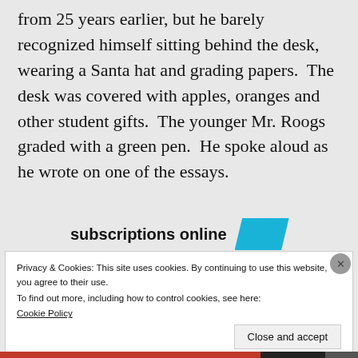from 25 years earlier, but he barely recognized himself sitting behind the desk, wearing a Santa hat and grading papers.  The desk was covered with apples, oranges and other student gifts.  The younger Mr. Roogs graded with a green pen.  He spoke aloud as he wrote on one of the essays.
subscriptions online
Privacy & Cookies: This site uses cookies. By continuing to use this website, you agree to their use.
To find out more, including how to control cookies, see here:
Cookie Policy
Close and accept